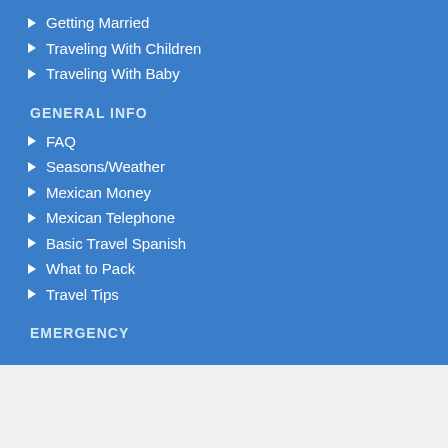Getting Married
Traveling With Children
Traveling With Baby
GENERAL INFO
FAQ
Seasons/Weather
Mexican Money
Mexican Telephone
Basic Travel Spanish
What to Pack
Travel Tips
EMERGENCY